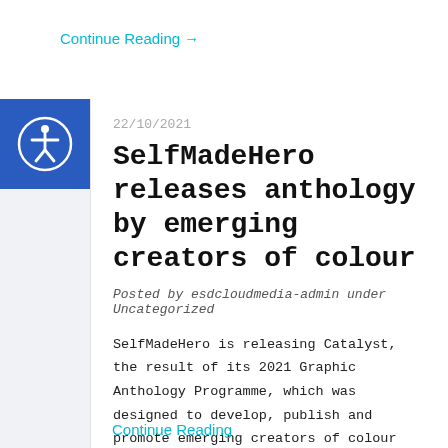Continue Reading →
[Figure (illustration): Accessibility icon: person inside a circle, white on dark blue background]
22/10/2021
SelfMadeHero releases anthology by emerging creators of colour
Posted by esdcloudmedia-admin under Uncategorized
SelfMadeHero is releasing Catalyst, the result of its 2021 Graphic Anthology Programme, which was designed to develop, publish and promote emerging creators of colour from across the UK.
Continue Reading